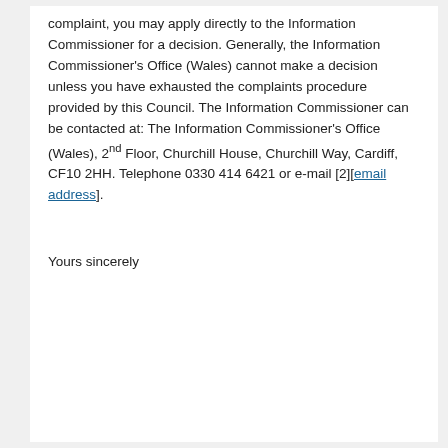complaint, you may apply directly to the Information Commissioner for a decision. Generally, the Information Commissioner's Office (Wales) cannot make a decision unless you have exhausted the complaints procedure provided by this Council. The Information Commissioner can be contacted at: The Information Commissioner's Office (Wales), 2^nd Floor, Churchill House, Churchill Way, Cardiff, CF10 2HH. Telephone 0330 414 6421 or e-mail [2][email address].
Yours sincerely